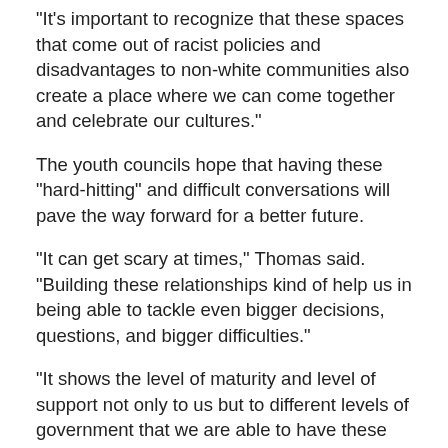"It's important to recognize that these spaces that come out of racist policies and disadvantages to non-white communities also create a place where we can come together and celebrate our cultures."
The youth councils hope that having these "hard-hitting" and difficult conversations will pave the way forward for a better future.
"It can get scary at times," Thomas said. "Building these relationships kind of help us in being able to tackle even bigger decisions, questions, and bigger difficulties."
"It shows the level of maturity and level of support not only to us but to different levels of government that we are able to have these